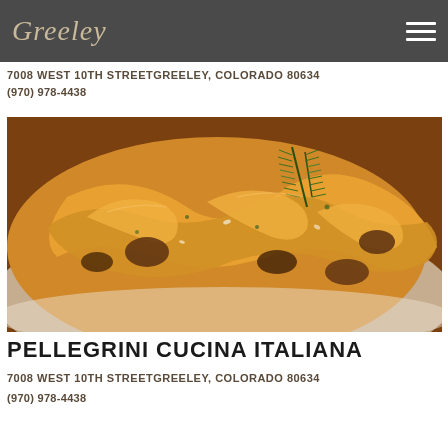Greeley
7008 WEST 10TH STREETGREELEY, COLORADO 80634
(970) 978-4438
[Figure (photo): Close-up photo of pasta dish (pappardelle) with mushrooms and herbs, garnished with a sprig of rosemary, served on a white plate]
PELLEGRINI CUCINA ITALIANA
7008 WEST 10TH STREETGREELEY, COLORADO 80634
(970) 978-4438